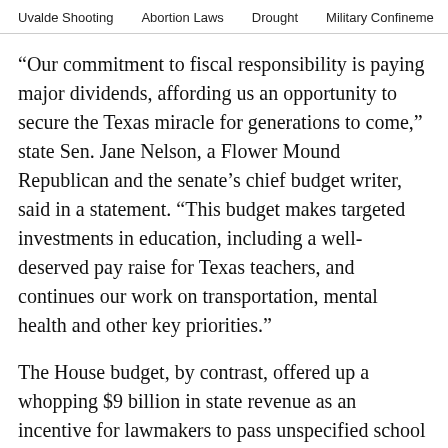Uvalde Shooting    Abortion Laws    Drought    Military Confinement
“Our commitment to fiscal responsibility is paying major dividends, affording us an opportunity to secure the Texas miracle for generations to come,” state Sen. Jane Nelson, a Flower Mound Republican and the senate’s chief budget writer, said in a statement. “This budget makes targeted investments in education, including a well-deserved pay raise for Texas teachers, and continues our work on transportation, mental health and other key priorities.”
The House budget, by contrast, offered up a whopping $9 billion in state revenue as an incentive for lawmakers to pass unspecified school finance reforms, which must in part “be used to provide property tax relief” but could also boost funds for early childhood education, special education and teacher pay. After accounting for property tax growth, the House budget